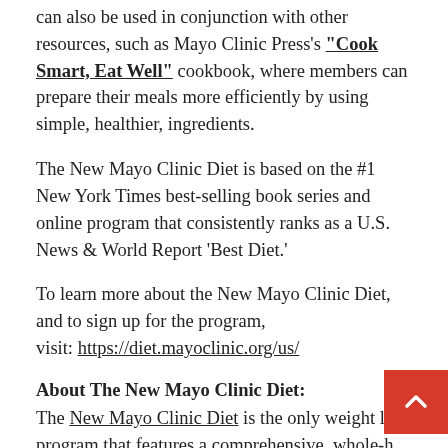can also be used in conjunction with other resources, such as Mayo Clinic Press's “Cook Smart, Eat Well” cookbook, where members can prepare their meals more efficiently by using simple, healthier, ingredients.
The New Mayo Clinic Diet is based on the #1 New York Times best-selling book series and online program that consistently ranks as a U.S. News & World Report ‘Best Diet.’
To learn more about the New Mayo Clinic Diet, and to sign up for the program,
visit: https://diet.mayoclinic.org/us/
About The New Mayo Clinic Diet:
The New Mayo Clinic Diet is the only weight loss program that features a comprehensive, whole-h menu program developed and approved by Mayo Clinic